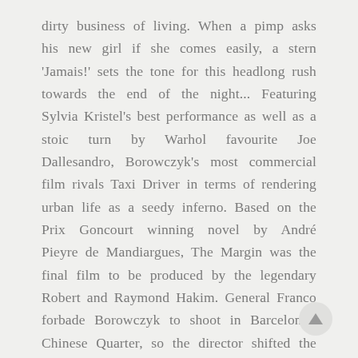dirty business of living. When a pimp asks his new girl if she comes easily, a stern 'Jamais!' sets the tone for this headlong rush towards the end of the night... Featuring Sylvia Kristel's best performance as well as a stoic turn by Warhol favourite Joe Dallesandro, Borowczyk's most commercial film rivals Taxi Driver in terms of rendering urban life as a seedy inferno. Based on the Prix Goncourt winning novel by André Pieyre de Mandiargues, The Margin was the final film to be produced by the legendary Robert and Raymond Hakim. General Franco forbade Borowczyk to shoot in Barcelona's Chinese Quarter, so the director shifted the action to Rue Saint Denis in Paris. An eclectic